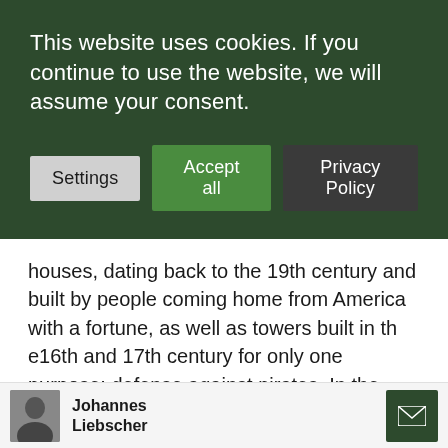This website uses cookies. If you continue to use the website, we will assume your consent.
Settings | Accept all | Privacy Policy
houses, dating back to the 19th century and built by people coming home from America with a fortune, as well as towers built in th e16th and 17th century for only one purpose: defense against pirates. In the steep, winding alleys old fishing cottages lean against the mountain as if for support, standing wall by wall. Once, this was a place for fishers, mariners and divers of the coral reefs. Now it is mainly populated by
Johannes Liebscher